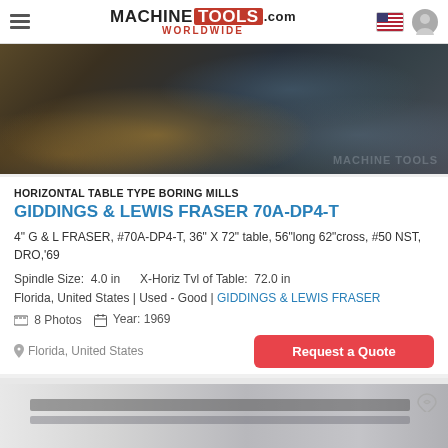MACHINE TOOLS .com WORLDWIDE
[Figure (photo): Photograph of a horizontal table type boring mill machine in a workshop setting, somewhat disorganized environment with wooden crates visible. MachineTools.com watermark in bottom right.]
HORIZONTAL TABLE TYPE BORING MILLS
GIDDINGS & LEWIS FRASER 70A-DP4-T
4" G & L FRASER, #70A-DP4-T, 36" X 72" table, 56"long 62"cross, #50 NST, DRO,'69
Spindle Size: 4.0 in     X-Horiz Tvl of Table: 72.0 in
Florida, United States | Used - Good | GIDDINGS & LEWIS FRASER
8 Photos   Year: 1969
Request a Quote
Florida, United States
[Figure (photo): Partial view of another machine tool listing showing industrial machinery in a shop environment.]